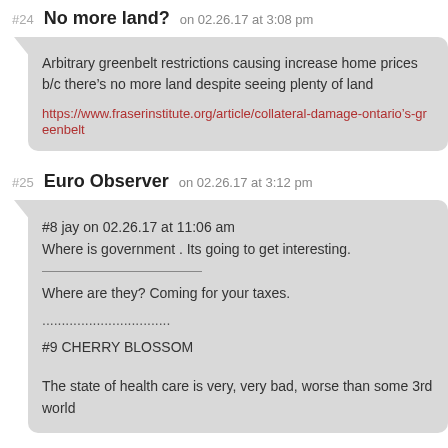#24 No more land? on 02.26.17 at 3:08 pm
Arbitrary greenbelt restrictions causing increase home prices b/c there’s no more land despite seeing plenty of land

https://www.fraserinstitute.org/article/collateral-damage-ontario’s-greenbelt
#25 Euro Observer on 02.26.17 at 3:12 pm
#8 jay on 02.26.17 at 11:06 am
Where is government . Its going to get interesting.

___________________

Where are they? Coming for your taxes.

.................................

#9 CHERRY BLOSSOM

The state of health care is very, very bad, worse than some 3rd world